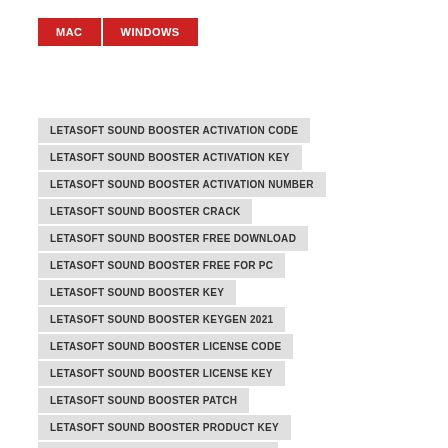MAC
WINDOWS
LETASOFT SOUND BOOSTER ACTIVATION CODE
LETASOFT SOUND BOOSTER ACTIVATION KEY
LETASOFT SOUND BOOSTER ACTIVATION NUMBER
LETASOFT SOUND BOOSTER CRACK
LETASOFT SOUND BOOSTER FREE DOWNLOAD
LETASOFT SOUND BOOSTER FREE FOR PC
LETASOFT SOUND BOOSTER KEY
LETASOFT SOUND BOOSTER KEYGEN 2021
LETASOFT SOUND BOOSTER LICENSE CODE
LETASOFT SOUND BOOSTER LICENSE KEY
LETASOFT SOUND BOOSTER PATCH
LETASOFT SOUND BOOSTER PRODUCT KEY
LETASOFT SOUND BOOSTER SERIAL KEY